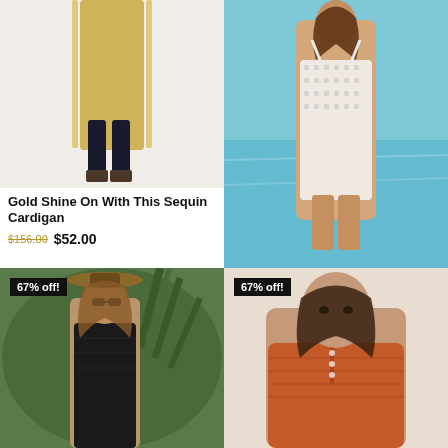[Figure (photo): Woman wearing a long gold sequin cardigan with black pants and heels, lower body visible]
Gold Shine On With This Sequin Cardigan
$156.00  $52.00
[Figure (photo): Woman in white hollow out crochet mini dress standing by a pool]
White Hollow Out Crochet Women's Cover Up
$75.00  $25.00
[Figure (photo): Woman in black sleeveless mesh outfit wearing a hat outdoors with plants. Badge: 67% off!]
[Figure (photo): Woman in rust/orange knit top, plus size model. Badge: 67% off!]